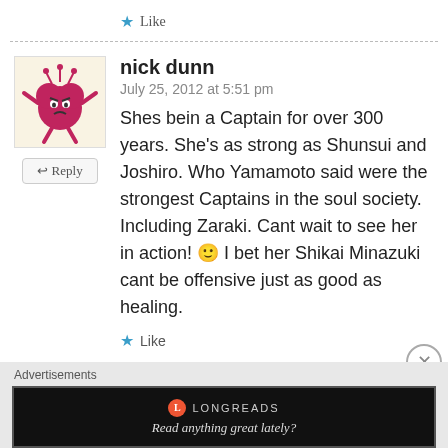★ Like
nick dunn
July 25, 2012 at 5:51 pm
Shes bein a Captain for over 300 years. She's as strong as Shunsui and Joshiro. Who Yamamoto said were the strongest Captains in the soul society. Including Zaraki. Cant wait to see her in action! 🙂 I bet her Shikai Minazuki cant be offensive just as good as healing.
★ Like
Advertisements
[Figure (screenshot): Longreads advertisement banner: black background with Longreads logo and text 'Read anything great lately?']